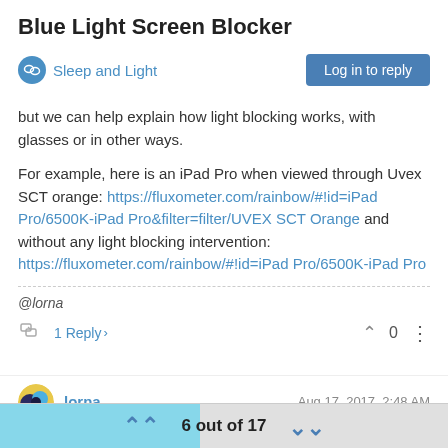Blue Light Screen Blocker
Sleep and Light
but we can help explain how light blocking works, with glasses or in other ways.
For example, here is an iPad Pro when viewed through Uvex SCT orange: https://fluxometer.com/rainbow/#!id=iPad Pro/6500K-iPad Pro&filter=filter/UVEX SCT Orange and without any light blocking intervention: https://fluxometer.com/rainbow/#!id=iPad Pro/6500K-iPad Pro
@lorna
1 Reply >  0
lorna
Aug 17, 2017, 2:48 AM
And here is the same iPad with one of the many filters that claim to
6 out of 17